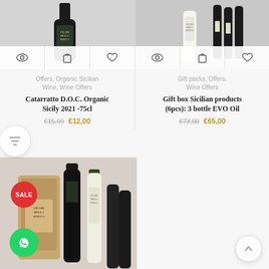[Figure (photo): Product image of wine bottle with Filari Della Rocca label, with action icons (eye, bag, heart) overlaid at the bottom]
Offers, Organic Sicilian Wine, Wine Offers
Catarratto D.O.C. Organic Sicily 2021 -75cl
€15,99  €12,00
[Figure (photo): Product image showing gift box with wine bottles and other Sicilian products, with action icons (eye, bag, heart) overlaid at the bottom]
Gift packs, Offers, Wine Offers
Gift box Sicilian products (6pcs): 3 bottle EVO Oil
€73,00  €65,00
[Figure (photo): Product image showing a sale gift pack with wine bottles and an olive oil bottle from Filari Della Rocca, with SALE badge and WhatsApp icon overlay]